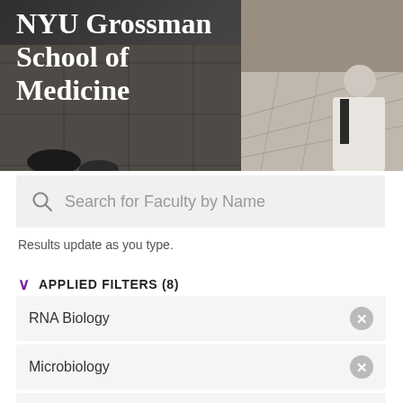[Figure (photo): Hero banner showing NYU Grossman School of Medicine header with people in white coats on tiled floor, overhead view]
NYU Grossman School of Medicine
Search for Faculty by Name
Results update as you type.
APPLIED FILTERS (8)
RNA Biology
Microbiology
Stem Cell Biology